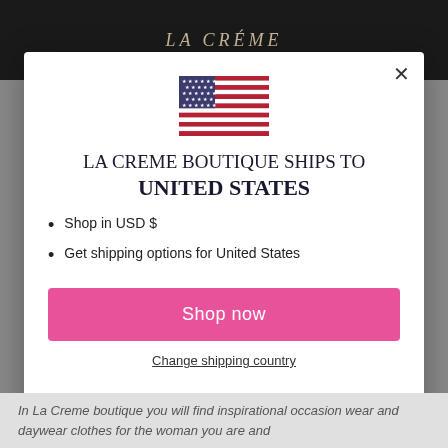LA CRÉME
[Figure (illustration): US flag SVG icon]
LA CREME BOUTIQUE SHIPS TO UNITED STATES
Shop in USD $
Get shipping options for United States
Shop now
Change shipping country
In La Creme boutique you will find inspirational occasion wear and daywear clothes for the woman you are and